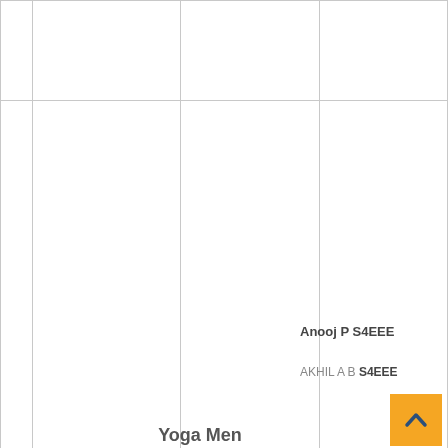|  |  |  |  |
|  |  |  |  |
Anooj P S4EEE
AKHIL A B S4EEE
Yoga Men
[Figure (other): Orange button with upward chevron arrow]